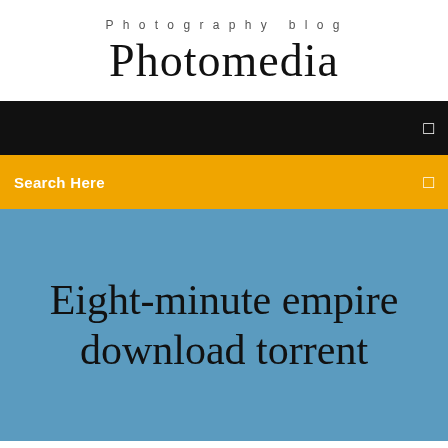Photography blog
Photomedia
☰
Search Here ☰
Eight-minute empire download torrent